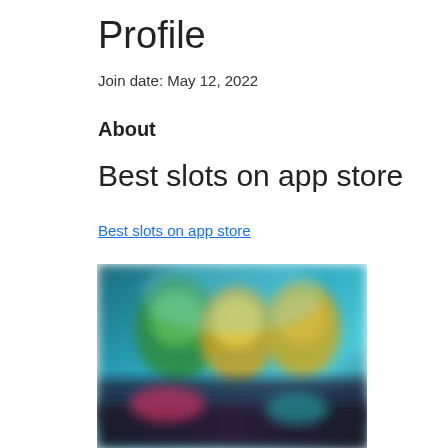Profile
Join date: May 12, 2022
About
Best slots on app store
Best slots on app store
[Figure (screenshot): Blurred screenshot of a slots/casino mobile app showing colorful animated characters on a dark background with game UI elements]